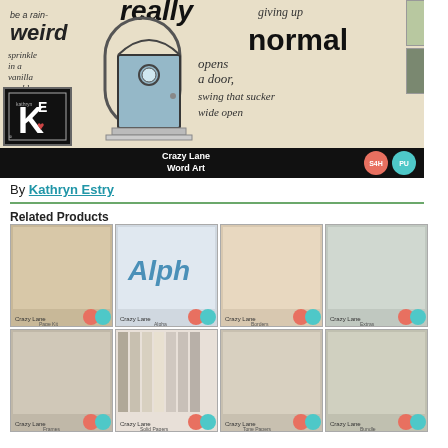[Figure (illustration): Crazy Lane Word Art product banner with hand-lettered style text phrases including 'weird', 'when life opens a door swing that sucker wide open', 'giving up normal', 'be a rainbow sprinkle in a vanilla world', illustrated door graphic, KE logo, and badges S4H and PU on black bar]
By Kathryn Estry
[Figure (illustration): Related product thumbnail 1: Crazy Lane Page Kit]
[Figure (illustration): Related product thumbnail 2: Crazy Lane Alpha]
[Figure (illustration): Related product thumbnail 3: Crazy Lane Borders]
[Figure (illustration): Related product thumbnail 4: Crazy Lane Extras]
[Figure (illustration): Related product thumbnail 5: Crazy Lane Frames]
[Figure (illustration): Related product thumbnail 6: Crazy Lane Solid Papers]
[Figure (illustration): Related product thumbnail 7: Crazy Lane Tone Papers]
[Figure (illustration): Related product thumbnail 8: Crazy Lane Bundle]